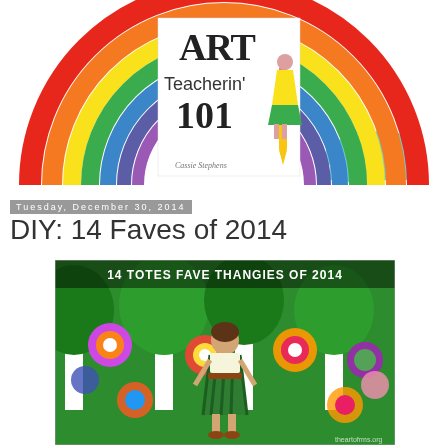[Figure (illustration): Art Teacherin 101 blog logo with rainbow arch and cloud, featuring a woman in colorful dress holding a large pencil]
Tuesday, December 30, 2014
DIY: 14 Faves of 2014
[Figure (photo): Photo of a woman standing in front of a large colorful student artwork mural featuring stylized trees and flowers. Text overlay reads '14 TOTES FAVE THANGIES OF 2014'. Watermark: theartofrms.org]